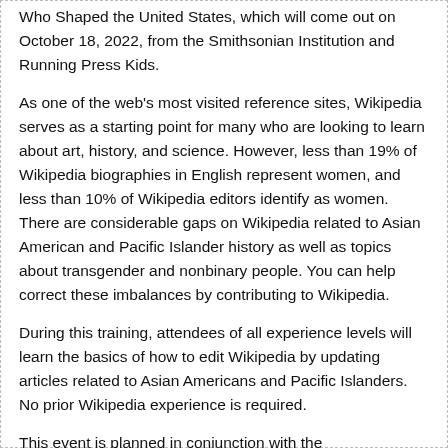Who Shaped the United States, which will come out on October 18, 2022, from the Smithsonian Institution and Running Press Kids.
As one of the web's most visited reference sites, Wikipedia serves as a starting point for many who are looking to learn about art, history, and science. However, less than 19% of Wikipedia biographies in English represent women, and less than 10% of Wikipedia editors identify as women. There are considerable gaps on Wikipedia related to Asian American and Pacific Islander history as well as topics about transgender and nonbinary people. You can help correct these imbalances by contributing to Wikipedia.
During this training, attendees of all experience levels will learn the basics of how to edit Wikipedia by updating articles related to Asian Americans and Pacific Islanders. No prior Wikipedia experience is required.
This event is planned in conjunction with the